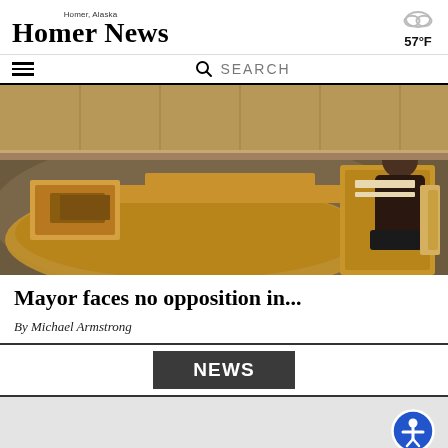Homer, Alaska — HOMER NEWS — 57°F
☰  🔍 SEARCH
[Figure (photo): Interior of a council chamber with curved wooden desks and a person seated working at a computer in the background.]
Mayor faces no opposition in...
By Michael Armstrong
NEWS
[Figure (photo): Partial view of a gray outdoor/sky scene, partially loaded image at the bottom of the page. An accessibility icon button is visible in the bottom right.]